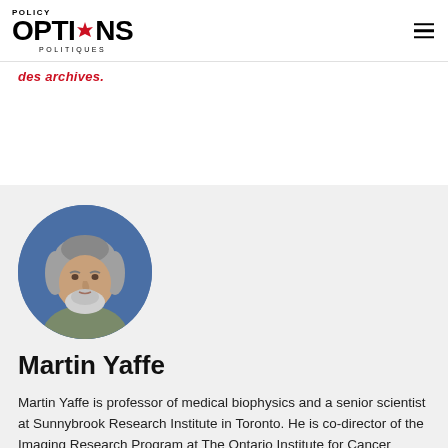Policy Options Politiques
des archives.
[Figure (photo): Circular headshot photo of Martin Yaffe, a middle-aged man with grey hair and beard, wearing a grey-green shirt, against a blue background.]
Martin Yaffe
Martin Yaffe is professor of medical biophysics and a senior scientist at Sunnybrook Research Institute in Toronto. He is co-director of the Imaging Research Program at The Ontario Institute for Cancer Research. He